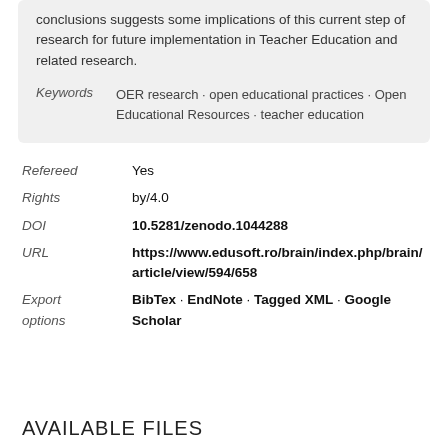conclusions suggests some implications of this current step of research for future implementation in Teacher Education and related research.
Keywords OER research · open educational practices · Open Educational Resources · teacher education
Refereed Yes
Rights by/4.0
DOI 10.5281/zenodo.1044288
URL https://www.edusoft.ro/brain/index.php/brain/article/view/594/658
Export options BibTex · EndNote · Tagged XML · Google Scholar
AVAILABLE FILES